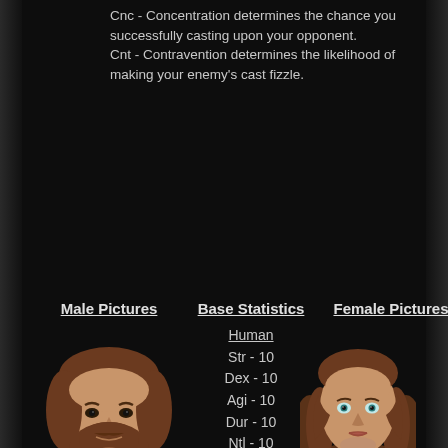Cnc - Concentration determines the chance you successfully casting upon your opponent.
Cnt - Contravention determines the likelihood of making your enemy's cast fizzle.
Male Pictures
Base Statistics
Female Pictures
Human
Str - 10
Dex - 10
Agi - 10
Dur - 10
Ntl - 10
Cnc - 10
Cnt - 10
Humans are well-rounded and easily adapt to any fighting type you wish to
[Figure (photo): 3D rendered male human face with brown beard and hair]
[Figure (photo): 3D rendered female human face with brown hair and fur collar]